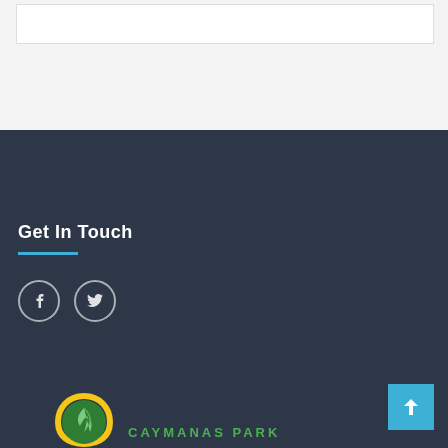[Figure (screenshot): Top light gray section with a white content box]
Get In Touch
[Figure (logo): Facebook and Twitter social media icon circles on dark background]
[Figure (logo): Caymanas Park logo with green circular emblem and green text at bottom]
[Figure (other): Back to top button (light blue square with white upward arrow)]